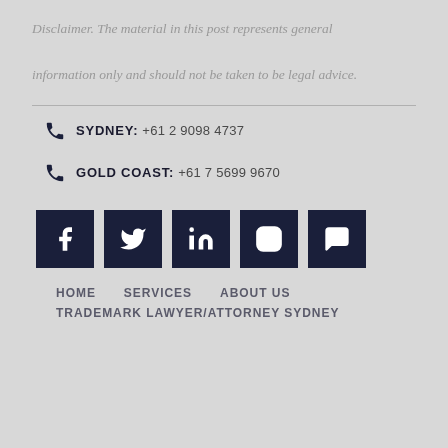Disclaimer. The material in this post represents general information only and should not be taken to be legal advice.
SYDNEY: +61 2 9098 4737
GOLD COAST: +61 7 5699 9670
[Figure (infographic): Five social media icon buttons (Facebook, Twitter, LinkedIn, Instagram, Chat/Review) in dark navy square backgrounds]
HOME   SERVICES   ABOUT US   TRADEMARK LAWYER/ATTORNEY SYDNEY